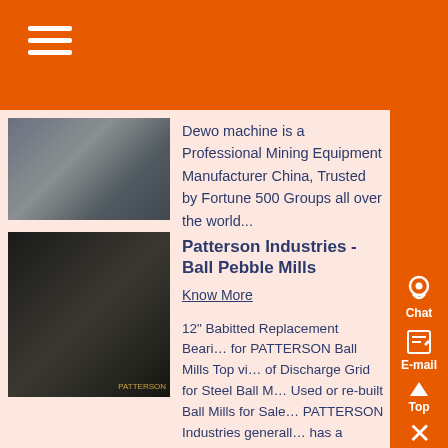[Figure (photo): Industrial mining equipment photo, top article thumbnail]
Dewo machine is a Professional Mining Equipment Manufacturer China, Trusted by Fortune 500 Groups all over the world...
[Figure (photo): Interior of a ball mill machine, bottom article thumbnail]
Patterson Industries - Ball Pebble Mills
Know More
12" Babitted Replacement Bearings for PATTERSON Ball Mills Top view of Discharge Grid for Steel Ball Mill Used or re-built Ball Mills for Sale. PATTERSON Industries generally has a number of lined and unlined good quality used or rebuilt Ball...